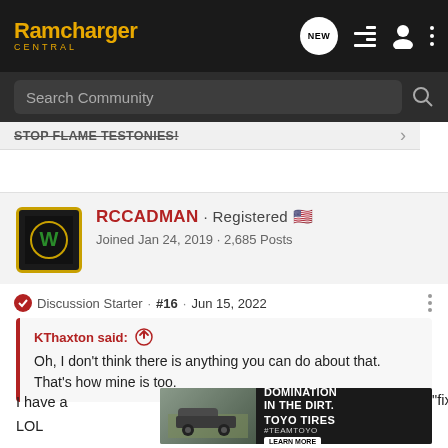Ramcharger Central
Search Community
STOP FLAME TESTONIES!
RCCADMAN · Registered 🇺🇸 Joined Jan 24, 2019 · 2,685 Posts
Discussion Starter · #16 · Jun 15, 2022
KThaxton said: Oh, I don't think there is anything you can do about that. That's how mine is too.
[Figure (screenshot): Toyo Tires advertisement: DOMINATION IN THE DIRT. #TEAMTOYO LEARN MORE with a truck racing image.]
I have a ... "fix it". LOL